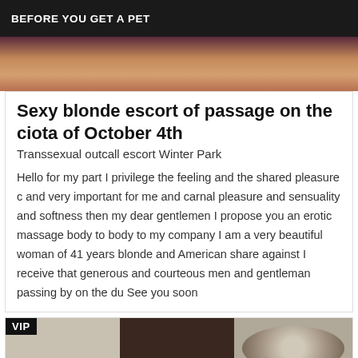BEFORE YOU GET A PET
[Figure (photo): Partial photo of a person in warm-toned clothing, cropped view]
Sexy blonde escort of passage on the ciota of October 4th
Transsexual outcall escort Winter Park
Hello for my part I privilege the feeling and the shared pleasure c and very important for me and carnal pleasure and sensuality and softness then my dear gentlemen I propose you an erotic massage body to body to my company I am a very beautiful woman of 41 years blonde and American share against I receive that generous and courteous men and gentleman passing by on the du See you soon
[Figure (photo): VIP-badged listing photo showing a light-colored wall, dark door, and a curly-haired person (cropped)]